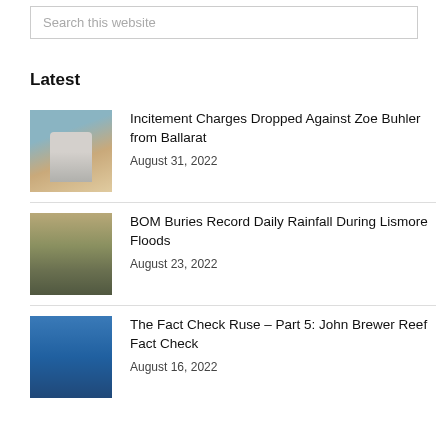Search this website
Latest
Incitement Charges Dropped Against Zoe Buhler from Ballarat
August 31, 2022
BOM Buries Record Daily Rainfall During Lismore Floods
August 23, 2022
The Fact Check Ruse – Part 5: John Brewer Reef Fact Check
August 16, 2022